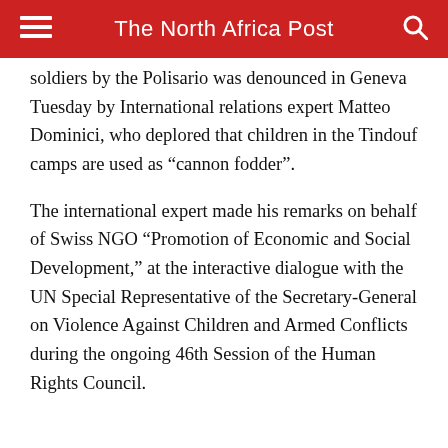The North Africa Post
soldiers by the Polisario was denounced in Geneva Tuesday by International relations expert Matteo Dominici, who deplored that children in the Tindouf camps are used as “cannon fodder”.
The international expert made his remarks on behalf of Swiss NGO “Promotion of Economic and Social Development,” at the interactive dialogue with the UN Special Representative of the Secretary-General on Violence Against Children and Armed Conflicts during the ongoing 46th Session of the Human Rights Council.
Matteo Dominici called on the UN Special Representative of the Secretary-General and on the UN Human Rights